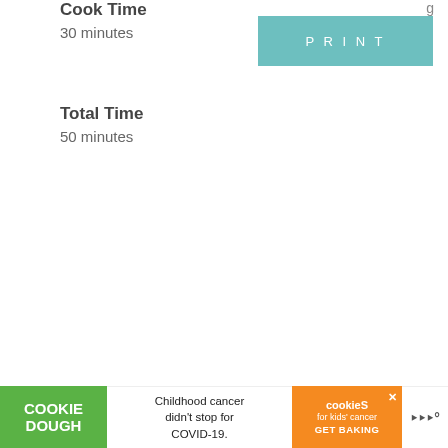Cook Time
30 minutes
Total Time
50 minutes
[Figure (other): Light gray rectangular image placeholder box with three navigation dots below it]
[Figure (other): Advertisement banner: Cookie Dough (green) | Childhood cancer didn't stop for COVID-19. | cookies for kids cancer GET BAKING (orange) | Meredith logo]